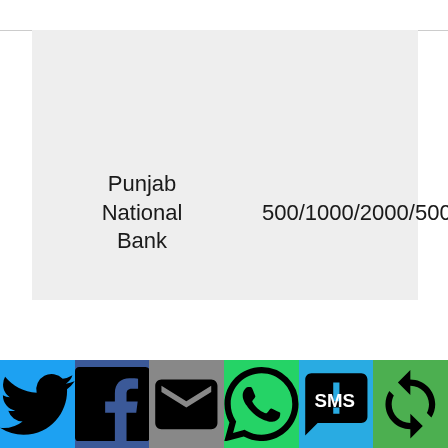Punjab National Bank    500/1000/2000/5000
[Figure (other): Social sharing bar with Twitter, Facebook, Email, WhatsApp, SMS, and Share icons on colored backgrounds]